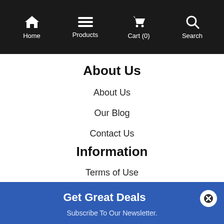Home | Products | Cart (0) | Search
About Us
About Us
Our Blog
Contact Us
Information
Terms of Use
Get Great Deals
Subscribe To Our Newsletter.
Enter email address